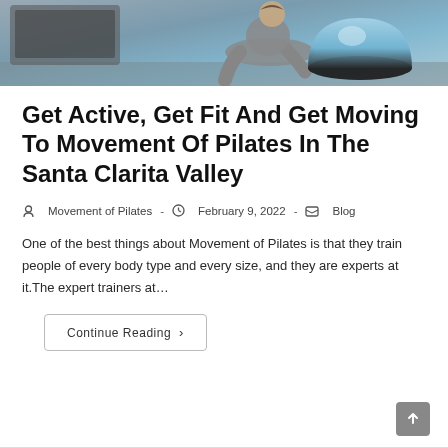[Figure (photo): Cropped photo of a person in gray athletic wear sitting/leaning on a blue BOSU balance trainer ball, with exercise equipment visible in the background]
Get Active, Get Fit And Get Moving To Movement Of Pilates In The Santa Clarita Valley
Movement of Pilates  -  February 9, 2022  -  Blog
One of the best things about Movement of Pilates is that they train people of every body type and every size, and they are experts at it.The expert trainers at…
Continue Reading  ›